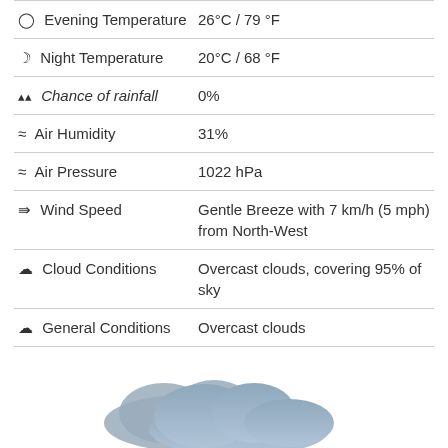| Field | Value |
| --- | --- |
| Evening Temperature | 26°C / 79 °F |
| Night Temperature | 20°C / 68 °F |
| Chance of rainfall | 0% |
| Air Humidity | 31% |
| Air Pressure | 1022 hPa |
| Wind Speed | Gentle Breeze with 7 km/h (5 mph) from North-West |
| Cloud Conditions | Overcast clouds, covering 95% of sky |
| General Conditions | Overcast clouds |
[Figure (illustration): Cloud illustration at bottom of page]